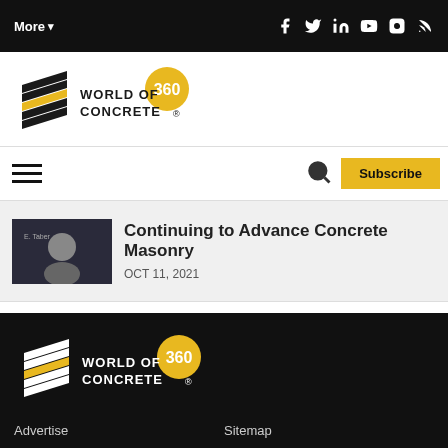More▾  [social icons: Facebook, Twitter, LinkedIn, YouTube, Instagram, RSS]
[Figure (logo): World of Concrete 360 logo — stacked layers icon with text 'World of Concrete' and gold circle '360']
[Hamburger menu] [Search icon] Subscribe
[Figure (photo): Thumbnail image of a man on a dark background]
Continuing to Advance Concrete Masonry
OCT 11, 2021
[Figure (logo): World of Concrete 360 logo (white version on black background) in footer]
Advertise    Sitemap